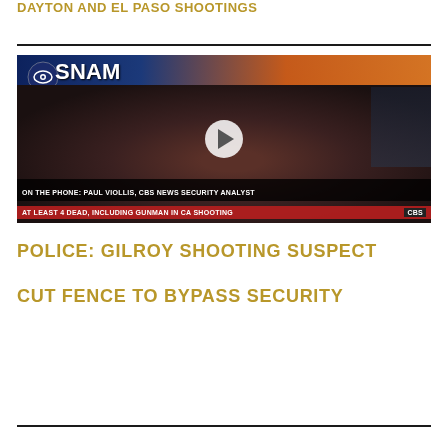DAYTON AND EL PASO SHOOTINGS
[Figure (screenshot): CBS News AM broadcast screenshot showing a female news anchor with lower thirds reading 'ON THE PHONE: PAUL VIOLLIS, CBS NEWS SECURITY ANALYST' and 'AT LEAST 4 DEAD, INCLUDING GUNMAN IN CA SHOOTING'. A play button overlay is visible in the center.]
POLICE: GILROY SHOOTING SUSPECT CUT FENCE TO BYPASS SECURITY